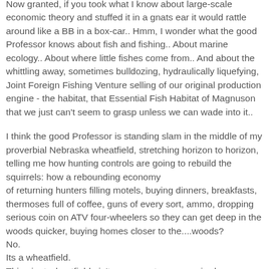Now granted, if you took what I know about large-scale economic theory and stuffed it in a gnats ear it would rattle around like a BB in a box-car.. Hmm, I wonder what the good Professor knows about fish and fishing.. About marine ecology.. About where little fishes come from.. And about the whittling away, sometimes bulldozing, hydraulically liquefying, Joint Foreign Fishing Venture selling of our original production engine - the habitat, that Essential Fish Habitat of Magnuson that we just can't seem to grasp unless we can wade into it..
I think the good Professor is standing slam in the middle of my proverbial Nebraska wheatfield, stretching horizon to horizon, telling me how hunting controls are going to rebuild the squirrels: how a rebounding economy of returning hunters filling motels, buying dinners, breakfasts, thermoses full of coffee, guns of every sort, ammo, dropping serious coin on ATV four-wheelers so they can get deep in the woods quicker, buying homes closer to the....woods? No. Its a wheatfield. This giant wheatfield ain't gonna restore no squirrels.